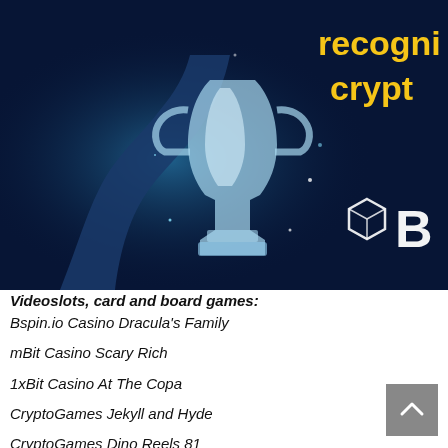[Figure (photo): Dark navy background with a glowing blue trophy held by a hand, yellow bold text partially visible reading 'recogni...' and 'crypt...' in top right, and a white geometric logo with letter B in bottom right area of banner]
Videoslots, card and board games:
Bspin.io Casino Dracula's Family
mBit Casino Scary Rich
1xBit Casino At The Copa
CryptoGames Jekyll and Hyde
CryptoGames Dino Reels 81